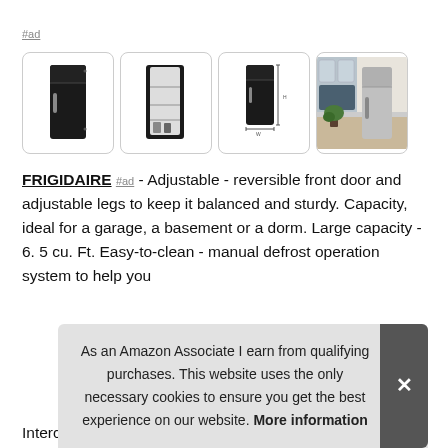#ad
[Figure (photo): Four product images of a Frigidaire compact upright freezer/refrigerator: front closed view (black), front open view showing interior, dimensional view with measurements, and lifestyle scene in a kitchen setting.]
FRIGIDAIRE #ad - Adjustable - reversible front door and adjustable legs to keep it balanced and sturdy. Capacity, ideal for a garage, a basement or a dorm. Large capacity - 6. 5 cu. Ft. Easy-to-clean - manual defrost operation system to help you
As an Amazon Associate I earn from qualifying purchases. This website uses the only necessary cookies to ensure you get the best experience on our website. More information
Interchangeable - organize and store your favorite foods with s